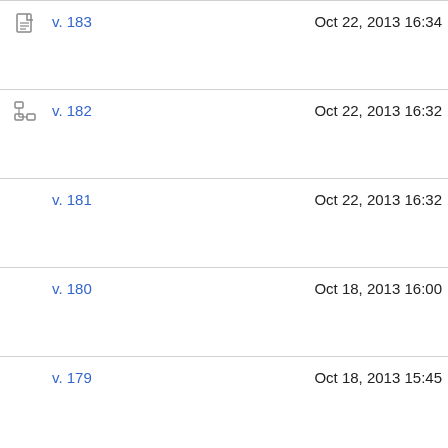v. 183  Oct 22, 2013 16:34
v. 182  Oct 22, 2013 16:32
v. 181  Oct 22, 2013 16:32
v. 180  Oct 18, 2013 16:00
v. 179  Oct 18, 2013 15:45